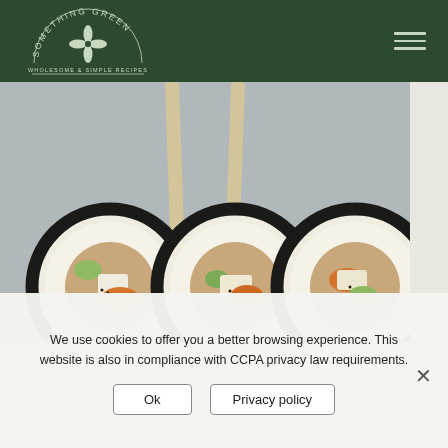[Figure (logo): Something Green – Wholesome & Simple Recipes logo in white on dark green background, circular arch text with a leaf/plant icon in center]
[Figure (photo): Close-up photo of three vegetarian sushi rolls cross-section showing tofu, carrot, cucumber fillings with nori and rice, and two chopsticks standing upright]
We use cookies to offer you a better browsing experience. This website is also in compliance with CCPA privacy law requirements.
Ok
Privacy policy